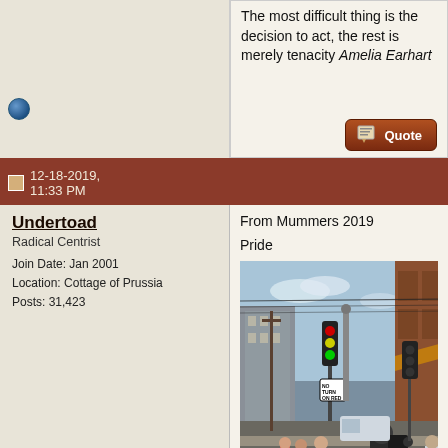The most difficult thing is the decision to act, the rest is merely tenacity Amelia Earhart
Quote
12-18-2019, 11:33 PM
Undertoad
Radical Centrist
Join Date: Jan 2001
Location: Cottage of Prussia
Posts: 31,423
From Mummers 2019
Pride
[Figure (photo): Street scene from Mummers 2019 in Philadelphia. Shows an urban intersection with a traffic light showing green, a 'No Turn on Red' sign, power lines, brick buildings, and a crowd of people on the sidewalk including a photographer in a dark jacket and beanie hat.]